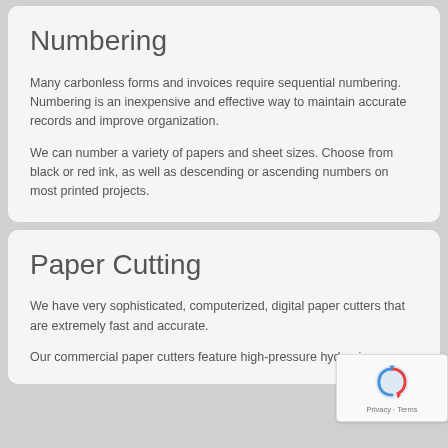Numbering
Many carbonless forms and invoices require sequential numbering. Numbering is an inexpensive and effective way to maintain accurate records and improve organization.
We can number a variety of papers and sheet sizes. Choose from black or red ink, as well as descending or ascending numbers on most printed projects.
Paper Cutting
We have very sophisticated, computerized, digital paper cutters that are extremely fast and accurate.
Our commercial paper cutters feature high-pressure hydraulic